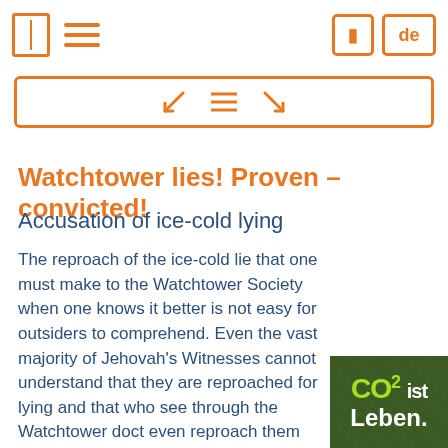[ book icon ] [ menu icon ] [ bookmark icon ] de
[Figure (screenshot): Toolbar with expand/collapse icons and a lines icon, orange border]
Watchtower lies! Proven – convicted!
Accusation of ice-cold lying
The reproach of the ice-cold lie that one must make to the Watchtower Society when one knows it better is not easy for outsiders to comprehend. Even the vast majority of Jehovah's Witnesses cannot understand that they are reproached for lying and that who see through the Watchtower doct even reproach them for this. Jehovah's
[Figure (logo): CO2 ist Leben badge with green background and lime green text]